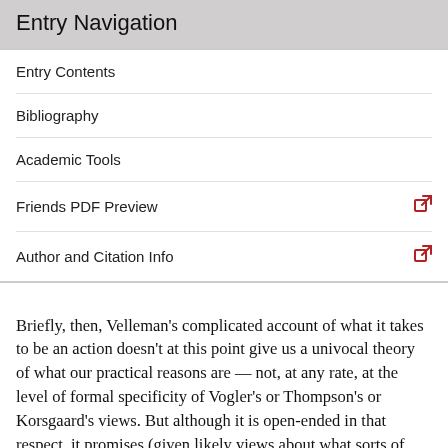Entry Navigation
Entry Contents
Bibliography
Academic Tools
Friends PDF Preview
Author and Citation Info
Briefly, then, Velleman's complicated account of what it takes to be an action doesn't at this point give us a univocal theory of what our practical reasons are — not, at any rate, at the level of formal specificity of Vogler's or Thompson's or Korsgaard's views. But although it is open-ended in that respect, it promises (given likely views about what sorts of facts can be adduced as explanations) to be quite surprising on that front.
If these speculations are on target, then, one authorship view of action can be argued to induce a surprising view